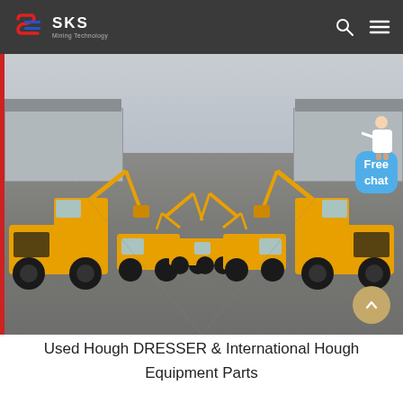SKS Mining Technology
[Figure (photo): Rows of yellow wheeled excavators parked in an industrial yard with warehouse buildings on either side, viewed from a central perspective. A 'Free chat' bubble and character appear in the upper right corner, along with a scroll-up button in the lower right.]
Used Hough DRESSER & International Hough Equipment Parts